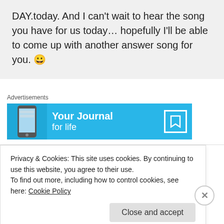DAY.today. And I can't wait to hear the song you have for us today… hopefully I'll be able to come up with another answer song for you. 😀
Advertisements
[Figure (screenshot): Blue advertisement banner for 'Your Journal for life' app with phone image on left and bookmark icon on right]
Jaimie on September 23, 2012 at 4:53 pm
Privacy & Cookies: This site uses cookies. By continuing to use this website, you agree to their use.
To find out more, including how to control cookies, see here: Cookie Policy